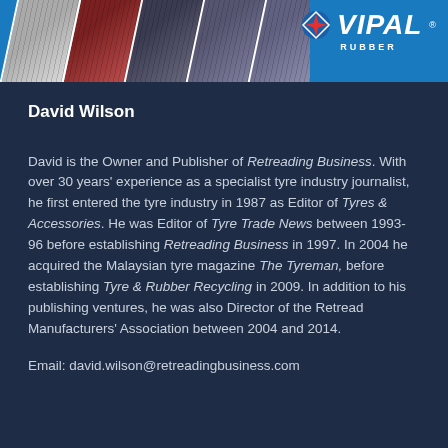[Figure (illustration): Vipal Rubber header banner with diagonal tyre product images on the left and the Vipal Rubber logo (flag icon + bold italic VIPAL text + RUBBER subtitle) on the right, set on a blue background.]
David Wilson
David is the Owner and Publisher of Retreading Business. With over 30 years' experience as a specialist tyre industry journalist, he first entered the tyre industry in 1987 as Editor of Tyres & Accessories. He was Editor of Tyre Trade News between 1993-96 before establishing Retreading Business in 1997. In 2004 he acquired the Malaysian tyre magazine The Tyreman, before establishing Tyre & Rubber Recycling in 2009. In addition to his publishing ventures, he was also Director of the Retread Manufacturers' Association between 2004 and 2014.
Email: david.wilson@retreadingbusiness.com